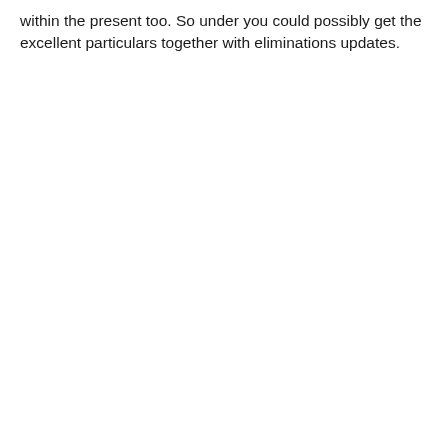within the present too. So under you could possibly get the excellent particulars together with eliminations updates.